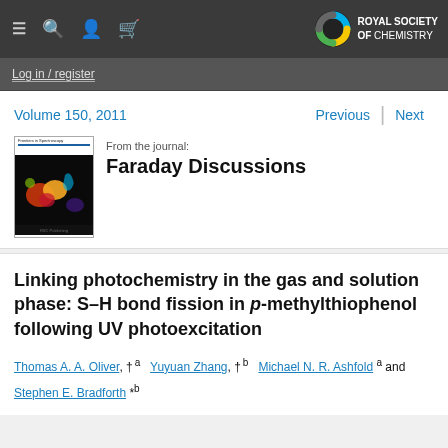Royal Society of Chemistry navigation
Log in / register
Volume 150, 2011
Previous | Next
[Figure (other): Faraday Discussions journal cover showing colorful fluorescent microscopy image]
From the journal:
Faraday Discussions
Linking photochemistry in the gas and solution phase: S–H bond fission in p-methylthiophenol following UV photoexcitation
Thomas A. A. Oliver, † a  Yuyuan Zhang, † b  Michael N. R. Ashfold a and Stephen E. Bradforth * b